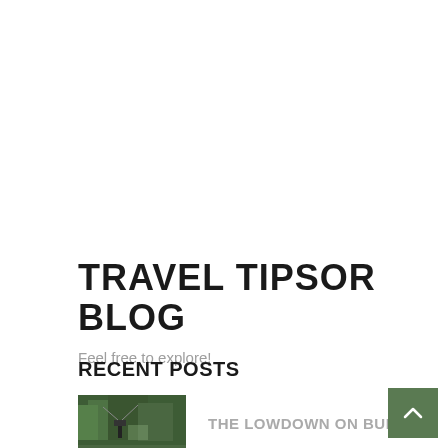TRAVEL TIPSOR BLOG
Feel free to explore!
RECENT POSTS
[Figure (photo): Thumbnail photo showing a person in outdoor/adventure setting with trees in background]
THE LOWDOWN ON BUNGEE